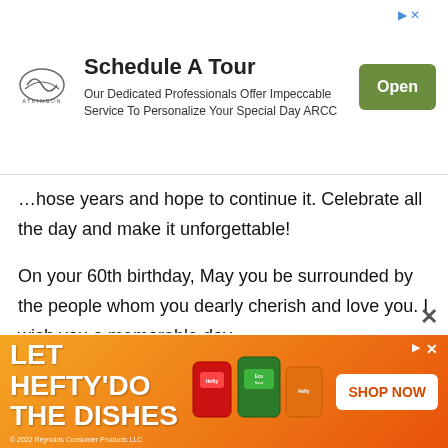[Figure (infographic): Top advertisement banner for Atkinson with logo, headline 'Schedule A Tour', body text 'Our Dedicated Professionals Offer Impeccable Service To Personalize Your Special Day ARCC', and a green 'Open' button.]
…hose years and hope to continue it. Celebrate all the day and make it unforgettable!
On your 60th birthday, May you be surrounded by the people whom you dearly cherish and love you. I wish you a memorable day.
Many congratulations on your sixtieth birthday! Have a great day!
[Figure (infographic): Bottom advertisement banner for Hefty with orange gradient background. Text: 'LET HEFTY DO THE DISHES'. Shows product images (dish soap products). 'SHOP NOW' button on right. Copyright: '© 2022 Reynolds Consumer Products LLC']